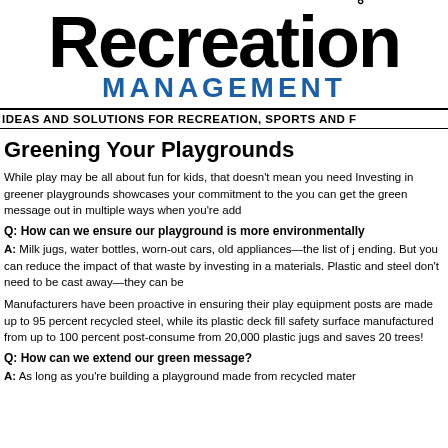[Figure (logo): Recreation Management logo with large black 'Recreation' text and blue 'MANAGEMENT' subtitle]
IDEAS AND SOLUTIONS FOR RECREATION, SPORTS AND F
Greening Your Playgrounds
While play may be all about fun for kids, that doesn't mean you need Investing in greener playgrounds showcases your commitment to the you can get the green message out in multiple ways when you're add
Q: How can we ensure our playground is more environmentally
A: Milk jugs, water bottles, worn-out cars, old appliances—the list of j ending. But you can reduce the impact of that waste by investing in a materials. Plastic and steel don't need to be cast away—they can be
Manufacturers have been proactive in ensuring their play equipment posts are made up to 95 percent recycled steel, while its plastic deck fill safety surface manufactured from up to 100 percent post-consume from 20,000 plastic jugs and saves 20 trees!
Q: How can we extend our green message?
A: As long as you're building a playground made from recycled mater